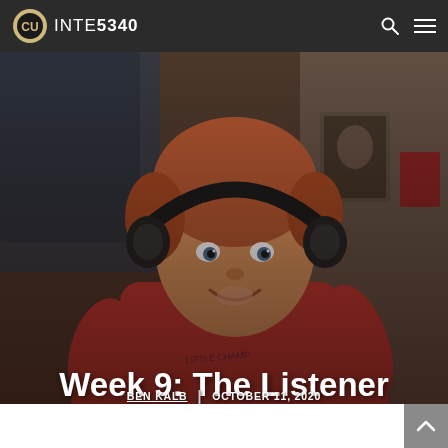INTE5340
[Figure (photo): A young toddler with reddish-brown hair wearing large black over-ear headphones and a red hoodie sweatshirt that reads 'Little Champ', smiling and looking up. Background shows a blurred room interior.]
Week 9: The Listener
BEN KALB  |  OCTOBER 11, 2020